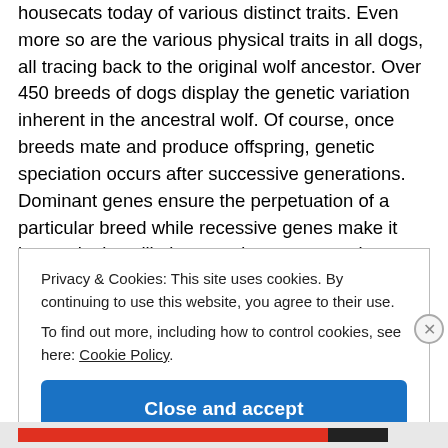housecats today of various distinct traits. Even more so are the various physical traits in all dogs, all tracing back to the original wolf ancestor. Over 450 breeds of dogs display the genetic variation inherent in the ancestral wolf. Of course, once breeds mate and produce offspring, genetic speciation occurs after successive generations. Dominant genes ensure the perpetuation of a particular breed while recessive genes make it increasingly unlikely to produce new species.
Privacy & Cookies: This site uses cookies. By continuing to use this website, you agree to their use. To find out more, including how to control cookies, see here: Cookie Policy
Close and accept